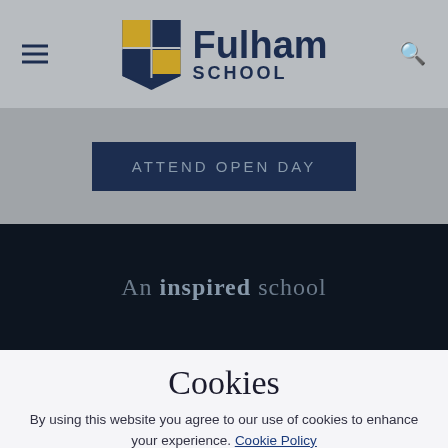[Figure (logo): Fulham School logo with quartered shield in navy and gold, with school name 'Fulham SCHOOL' to the right, hamburger menu icon on the left, and search icon on the right]
ATTEND OPEN DAY
An inspired school
Cookies
By using this website you agree to our use of cookies to enhance your experience. Cookie Policy